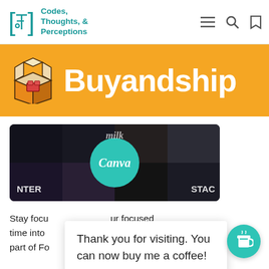Codes, Thoughts, & Perceptions
[Figure (illustration): Buyandship orange banner with cartoon open shipping box icon and white 'Buyandship' text]
[Figure (screenshot): Canva logo (teal circle with white italic 'Canva' text) overlaid on a dark collage of book covers including 'NTER' and 'STAG' titles, with 'milk' text visible at top]
Stay focu... ur focused time into... G to be a part of Fo...
Thank you for visiting. You can now buy me a coffee!